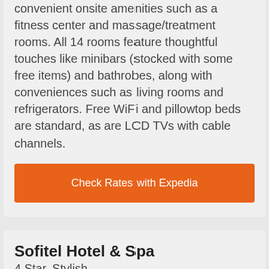convenient onsite amenities such as a fitness center and massage/treatment rooms. All 14 rooms feature thoughtful touches like minibars (stocked with some free items) and bathrobes, along with conveniences such as living rooms and refrigerators. Free WiFi and pillowtop beds are standard, as are LCD TVs with cable channels.
Check Rates with Expedia
Sofitel Hotel & Spa
4 Star, Stylish